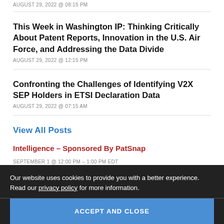AUGUST 29, 2022 @ 08:15 PM
This Week in Washington IP: Thinking Critically About Patent Reports, Innovation in the U.S. Air Force, and Addressing the Data Divide
AUGUST 29, 2022 @ 12:15 PM
Confronting the Challenges of Identifying V2X SEP Holders in ETSI Declaration Data
AUGUST 29, 2022 @ 07:15 AM
View All Posts
Our website uses cookies to provide you with a better experience. Read our privacy policy for more information.
ACCEPT AND CLOSE
Intelligence – Sponsored By PatSnap
SEPTEMBER 1 @ 12:00 PM – 1:00 PM EDT